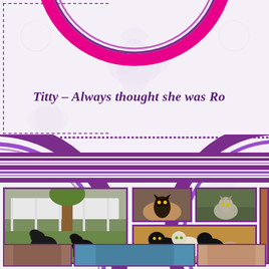[Figure (photo): Top portion showing a large pink/magenta circular photo frame at top center, with a purple dashed border box on the left side]
Titty - Always thought she was Ro...
[Figure (photo): Bottom section with large purple concentric circles on left and right, containing a photo grid: large photo of two black dogs playing on grass, smaller photos of cats, and a tall photo of a cat in a basket on the right]